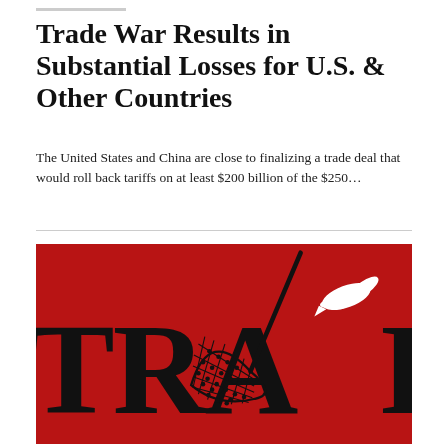Trade War Results in Substantial Losses for U.S. & Other Countries
The United States and China are close to finalizing a trade deal that would roll back tariffs on at least $200 billion of the $250...
[Figure (illustration): Red background image with large black bold letters spelling 'TRAP' with a lacrosse/fishing net overlaid on the letters, and a white dove flying in the upper right corner. The word appears to be part of 'TRADE' but is cropped.]